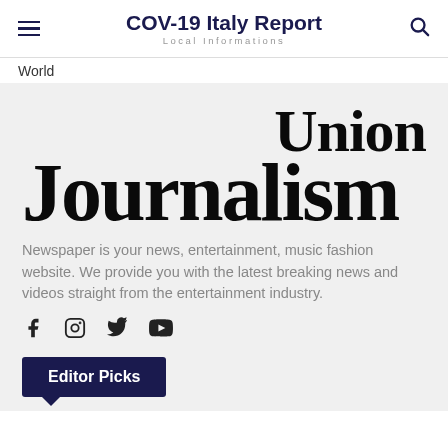COV-19 Italy Report
Local Informations
World
[Figure (logo): Union Journalism large bold serif logotype, two lines: 'Union' right-aligned on top, 'Journalism' left-aligned below, both in heavy black serif font on light gray background]
Newspaper is your news, entertainment, music fashion website. We provide you with the latest breaking news and videos straight from the entertainment industry.
[Figure (infographic): Social media icons in a row: Facebook (f), Instagram (circle camera), Twitter (bird), YouTube (play button)]
Editor Picks